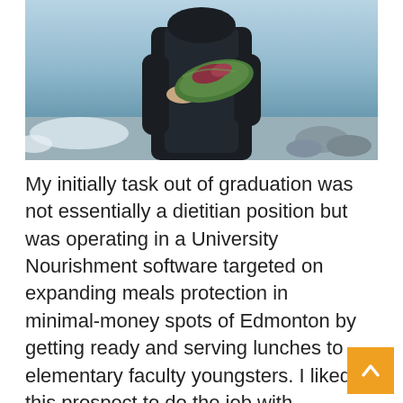[Figure (photo): A person wearing a dark puffer jacket holding a green leaf-shaped plate/dish with food on it, standing outdoors near water and rocks with snow visible.]
My initially task out of graduation was not essentially a dietitian position but was operating in a University Nourishment software targeted on expanding meals protection in minimal-money spots of Edmonton by getting ready and serving lunches to elementary faculty youngsters. I liked this prospect to do the job with remarkable team and to see 1st-hand the affect that a very simp nutritious meal has on the power, target, and pleasure of individuals sweet little ones.